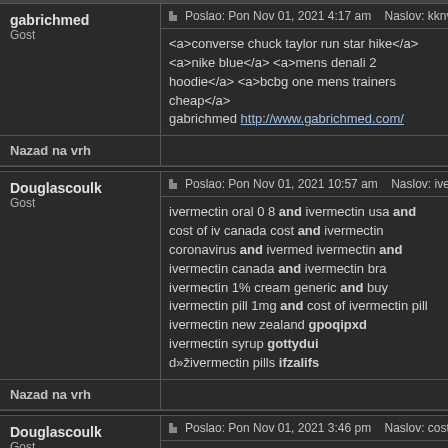gabrichmed
Gost
Poslao: Pon Nov 01, 2021 4:17 am    Naslov: kknvoaadc@g
<a>converse chuck taylor run star hike</a> <a>nike blue</a> <a>mens denali 2 hoodie</a> <a>bcbg one mens trainers cheap</a>
gabrichmed http://www.gabrichmed.com/
Nazad na vrh
Douglascoulk
Gost
Poslao: Pon Nov 01, 2021 10:57 am    Naslov: ivermectin rx
ivermectin oral 0 8 and ivermectin usa and cost of iv canada cost and ivermectin coronavirus and ivermed ivermectin and ivermectin canada and ivermectin bra ivermectin 1% cream generic and buy ivermectin pill 1mg and cost of ivermectin pill
ivermectin new zealand gpoqipxd
ivermectin syrup gottydui
d»živermectin pills ifzalifs
Nazad na vrh
Douglascoulk
Gost
Poslao: Pon Nov 01, 2021 3:46 pm    Naslov: cost of iverme
where to buy ivermectin pills and ivermectin cream c pills and generic ivermectin cream and d»živermecti